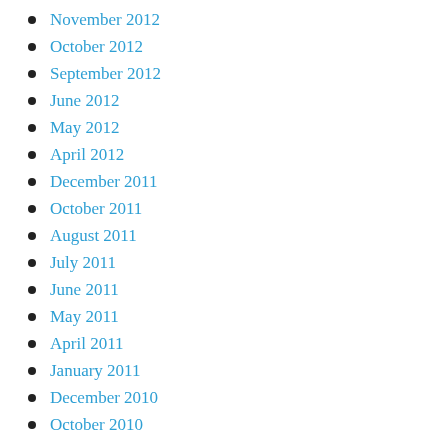November 2012
October 2012
September 2012
June 2012
May 2012
April 2012
December 2011
October 2011
August 2011
July 2011
June 2011
May 2011
April 2011
January 2011
December 2010
October 2010